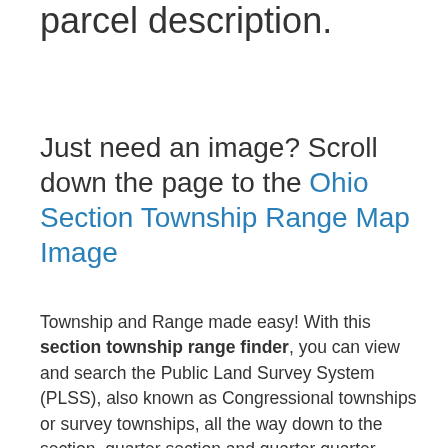parcel description.
Just need an image? Scroll down the page to the Ohio Section Township Range Map Image
Township and Range made easy! With this section township range finder, you can view and search the Public Land Survey System (PLSS), also known as Congressional townships or survey townships, all the way down to the section, quarter section and quarter quarter section level anywhere in Ohio, all overlaid on a fully interactive Google Map. Optionally, add section township range labels, and overlay counties and cities as well!